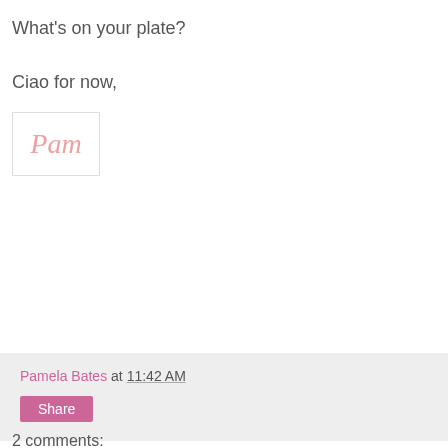What's on your plate?
Ciao for now,
[Figure (illustration): Handwritten cursive signature reading 'Pam' in pink/salmon color inside a white box with light border]
Pamela Bates at 11:42 AM  Share
2 comments: